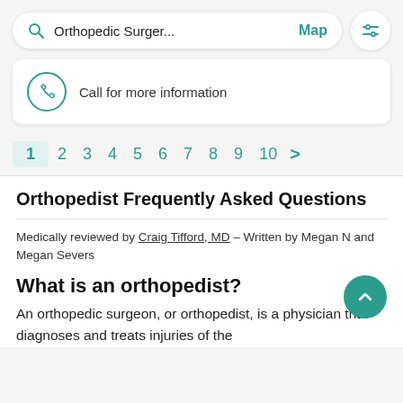[Figure (screenshot): Mobile search bar showing 'Orthopedic Surger...' with Map link and filter icon]
Call for more information
1 2 3 4 5 6 7 8 9 10 >
Orthopedist Frequently Asked Questions
Medically reviewed by Craig Tifford, MD – Written by Megan N and Megan Severs
What is an orthopedist?
An orthopedic surgeon, or orthopedist, is a physician that diagnoses and treats injuries of the